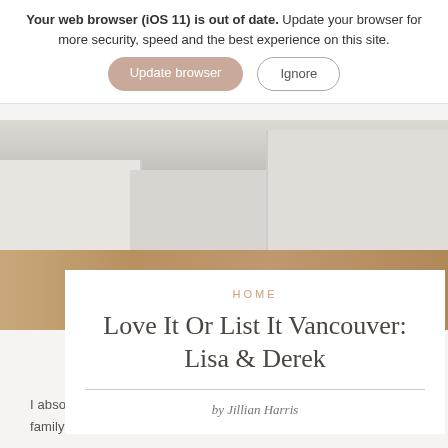Your web browser (iOS 11) is out of date. Update your browser for more security, speed and the best experience on this site.
[Figure (photo): Interior photo of a modern white kitchen with light wood floors, white cabinets with dark handles, and a dining area visible in the background.]
HOME
Love It Or List It Vancouver: Lisa & Derek
by Jillian Harris
I absolutely loved working with Derek and Lisa and their growing family. Their home was bursting at